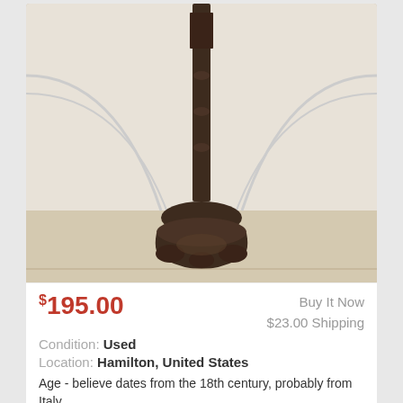[Figure (photo): Close-up photo of the base and lower shaft of a dark bronze/brass antique crucifix standing on a decorative ornate base, photographed against a white background with architectural molding details visible]
$195.00
Buy It Now
$23.00 Shipping
Condition: Used
Location: Hamilton, United States
Age - believe dates from the 18th century, probably from Italy.
VINTAGE SOLID BRASS FREE STANDING ALTAR CRUCIFIC